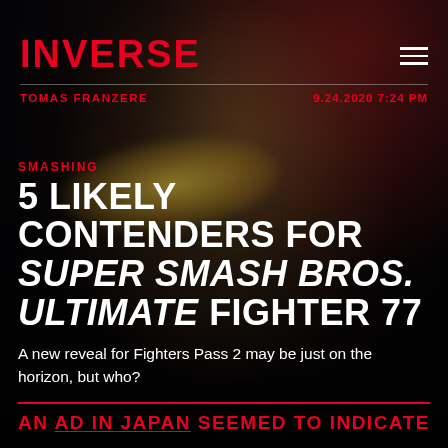[Figure (photo): Dark dramatic photo background showing a person wearing yellow-tinted aviator glasses, shot from below at an angle, with dark moody lighting and red accents.]
INVERSE
TOMAS FRANZERE   9.24.2020 7:24 PM
SMASHING
5 LIKELY CONTENDERS FOR SUPER SMASH BROS. ULTIMATE FIGHTER 77
A new reveal for Fighters Pass 2 may be just on the horizon, but who?
AN AD IN JAPAN SEEMED TO INDICATE